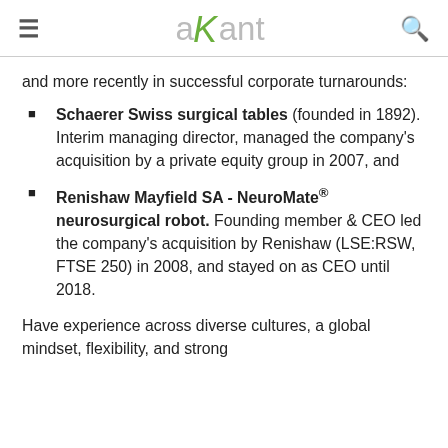axant (logo with hamburger menu and search icon)
and more recently in successful corporate turnarounds:
Schaerer Swiss surgical tables (founded in 1892). Interim managing director, managed the company's acquisition by a private equity group in 2007, and
Renishaw Mayfield SA - NeuroMate® neurosurgical robot. Founding member & CEO led the company's acquisition by Renishaw (LSE:RSW, FTSE 250) in 2008, and stayed on as CEO until 2018.
Have experience across diverse cultures, a global mindset, flexibility, and strong